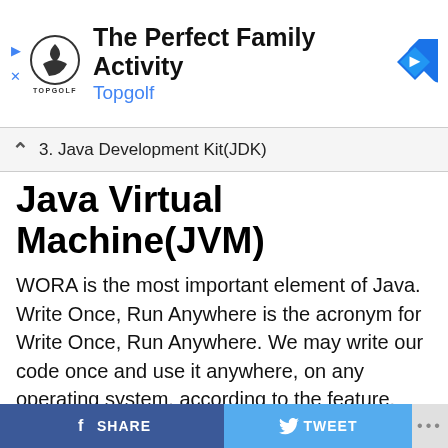[Figure (other): Topgolf advertisement banner with logo, headline 'The Perfect Family Activity', subline 'Topgolf', and a blue navigation arrow icon]
3. Java Development Kit(JDK)
Java Virtual Machine(JVM)
WORA is the most important element of Java. Write Once, Run Anywhere is the acronym for Write Once, Run Anywhere. We may write our code once and use it anywhere, on any operating system, according to the feature. Because of the Java Virtual Machine, our Java software can execute on any platform. It is a Java platform component that provides us with a platform through which to run Java programs. The primary function of the JVM is to translate bytecode to machine
SHARE   TWEET   ...